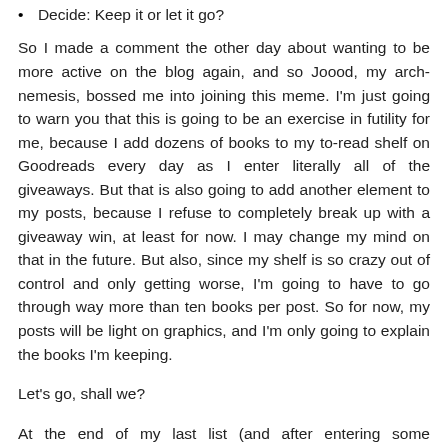Decide: Keep it or let it go?
So I made a comment the other day about wanting to be more active on the blog again, and so Joood, my arch-nemesis, bossed me into joining this meme. I'm just going to warn you that this is going to be an exercise in futility for me, because I add dozens of books to my to-read shelf on Goodreads every day as I enter literally all of the giveaways. But that is also going to add another element to my posts, because I refuse to completely break up with a giveaway win, at least for now. I may change my mind on that in the future. But also, since my shelf is so crazy out of control and only getting worse, I'm going to have to go through way more than ten books per post. So for now, my posts will be light on graphics, and I'm only going to explain the books I'm keeping.
Let's go, shall we?
At the end of my last list (and after entering some giveaways